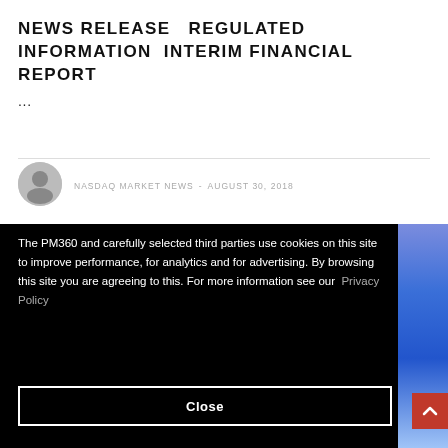NEWS RELEASE   REGULATED INFORMATION  INTERIM FINANCIAL REPORT
...
NASDAQ MARKET NEWS  -  AUGUST 30, 2018
The PM360 and carefully selected third parties use cookies on this site to improve performance, for analytics and for advertising. By browsing this site you are agreeing to this. For more information see our Privacy Policy
Close